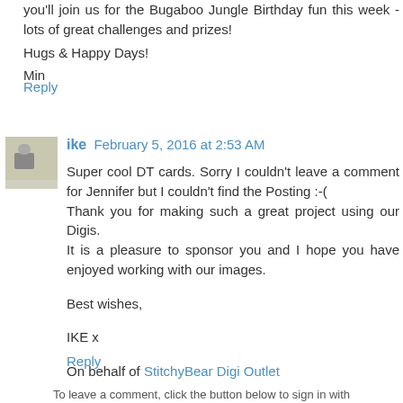you'll join us for the Bugaboo Jungle Birthday fun this week - lots of great challenges and prizes!
Hugs & Happy Days!
Min
Reply
ike  February 5, 2016 at 2:53 AM
Super cool DT cards. Sorry I couldn't leave a comment for Jennifer but I couldn't find the Posting :-(
Thank you for making such a great project using our Digis.
It is a pleasure to sponsor you and I hope you have enjoyed working with our images.

Best wishes,

IKE x

On behalf of StitchyBear Digi Outlet
Reply
To leave a comment, click the button below to sign in with